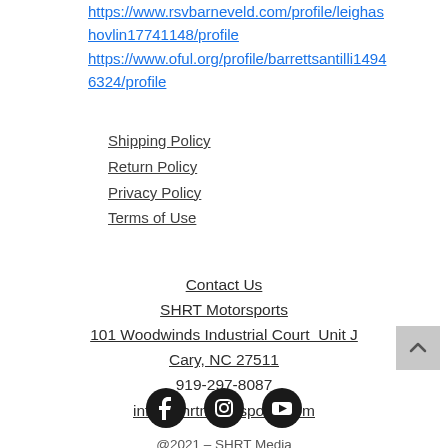https://www.rsvbarneveld.com/profile/leighashovlin17741148/profile
https://www.oful.org/profile/barrettsantilli14946324/profile
Shipping Policy
Return Policy
Privacy Policy
Terms of Use
Contact Us
SHRT Motorsports
101 Woodwinds Industrial Court  Unit J
Cary, NC 27511
919-297-8087
info@shrtmotorsports.com
[Figure (illustration): Social media icons: Facebook, Instagram, YouTube (black circles with white icons)]
@2021 - SHRT Media